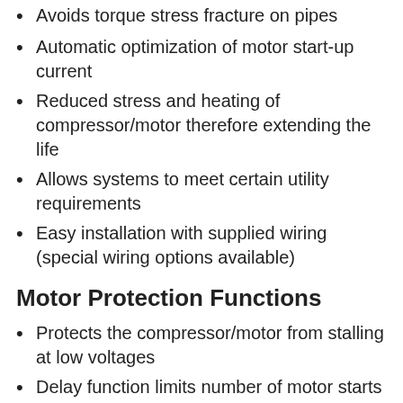Avoids torque stress fracture on pipes
Automatic optimization of motor start-up current
Reduced stress and heating of compressor/motor therefore extending the life
Allows systems to meet certain utility requirements
Easy installation with supplied wiring (special wiring options available)
Motor Protection Functions
Protects the compressor/motor from stalling at low voltages
Delay function limits number of motor starts per hour
Provides motor reversal protection during short power outages